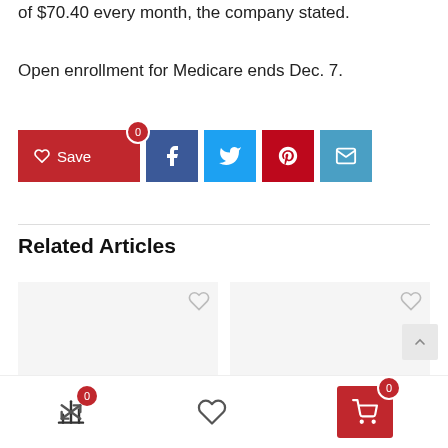of $70.40 every month, the company stated.
Open enrollment for Medicare ends Dec. 7.
[Figure (other): Social sharing buttons row: Save (red with heart icon, count 0), Facebook (dark blue), Twitter (light blue), Pinterest (red), Email (teal)]
Related Articles
[Figure (other): Two related article card placeholders with heart/save icons, and a back-to-top button]
[Figure (other): Bottom navigation bar with compare icon (badge 0), heart icon, and cart button (badge 0)]